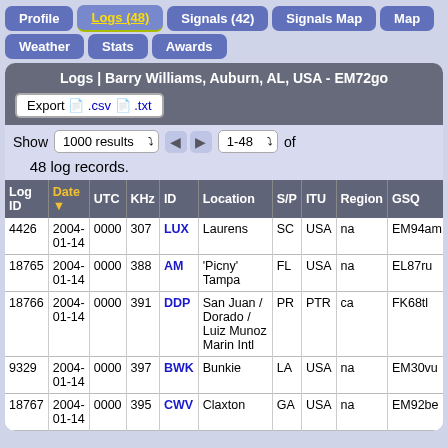Profile | Logs (48) | Signals (42) | Signals Map | Map | Weather | Stats | Awards
Logs | Barry Williams, Auburn, AL, USA - EM72go
Export .csv .txt
Show 1000 results 1-48 of 48 log records.
| Log ID | Date ▼ | UTC | KHz | ID | Location | S/P | ITU | Region | GSQ | L |
| --- | --- | --- | --- | --- | --- | --- | --- | --- | --- | --- |
| 4426 | 2004-01-14 | 0000 | 307 | LUX | Laurens | SC | USA | na | EM94am |  |
| 18765 | 2004-01-14 | 0000 | 388 | AM | 'Picny' Tampa | FL | USA | na | EL87ru |  |
| 18766 | 2004-01-14 | 0000 | 391 | DDP | San Juan / Dorado / Luiz Munoz Marin Intl | PR | PTR | ca | FK68tl |  |
| 9329 | 2004-01-14 | 0000 | 397 | BWK | Bunkie | LA | USA | na | EM30vu |  |
| 18767 | 2004-01-14 | 0000 | 395 | CWV | Claxton | GA | USA | na | EM92be |  |